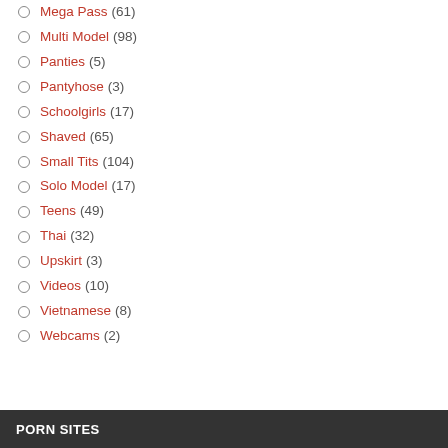Mega Pass (61)
Multi Model (98)
Panties (5)
Pantyhose (3)
Schoolgirls (17)
Shaved (65)
Small Tits (104)
Solo Model (17)
Teens (49)
Thai (32)
Upskirt (3)
Videos (10)
Vietnamese (8)
Webcams (2)
PORN SITES